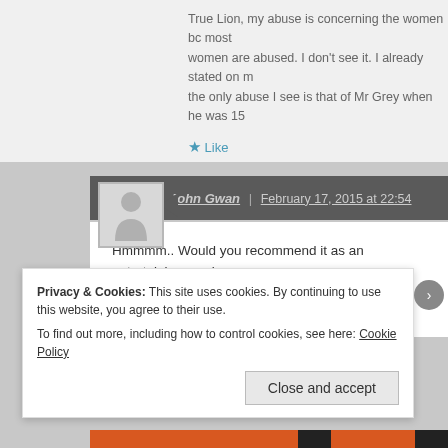True Lion, my abuse is concerning the women bc most women are abused. I don't see it. I already stated on m the only abuse I see is that of Mr Grey when he was 15
★ Like
John Gwan | February 17, 2015 at 22:54
Hmmmm.. Would you recommend it as an entertaining movie Or is the hype just about the whole BDSM?
Is there a nice story??
Privacy & Cookies: This site uses cookies. By continuing to use this website, you agree to their use.
To find out more, including how to control cookies, see here: Cookie Policy
Close and accept